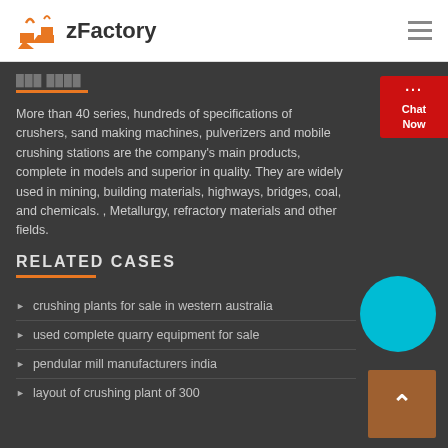zFactory
More than 40 series, hundreds of specifications of crushers, sand making machines, pulverizers and mobile crushing stations are the company's main products, complete in models and superior in quality. They are widely used in mining, building materials, highways, bridges, coal, and chemicals. , Metallurgy, refractory materials and other fields.
RELATED CASES
crushing plants for sale in western australia
used complete quarry equipment for sale
pendular mill manufacturers india
layout of crushing plant of 300